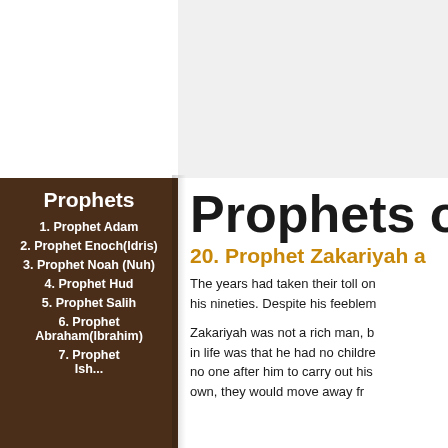Prophets
1. Prophet Adam
2. Prophet Enoch(Idris)
3. Prophet Noah (Nuh)
4. Prophet Hud
5. Prophet Salih
6. Prophet Abraham(Ibrahim)
7. Prophet Ishmael(Ismail)
Prophets of
20. Prophet Zakariyah a
The years had taken their toll on his nineties. Despite his feeblem
Zakariyah was not a rich man, b in life was that he had no childre no one after him to carry out his own, they would move away fr